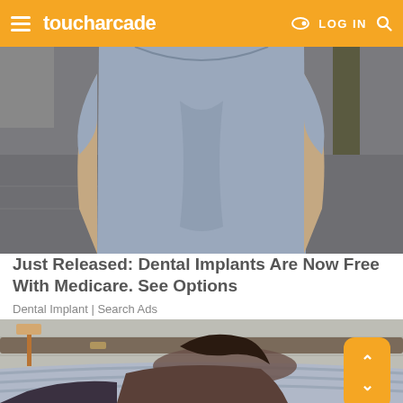toucharcade — LOG IN
[Figure (photo): Close-up photo of a person wearing a light blue/grey short-sleeved top, torso view, standing outdoors on a sidewalk]
Just Released: Dental Implants Are Now Free With Medicare. See Options
Dental Implant | Search Ads
[Figure (photo): Photo of a woman with dark hair lying on a bed/mattress in a showroom setting, with a lamp visible in the background]